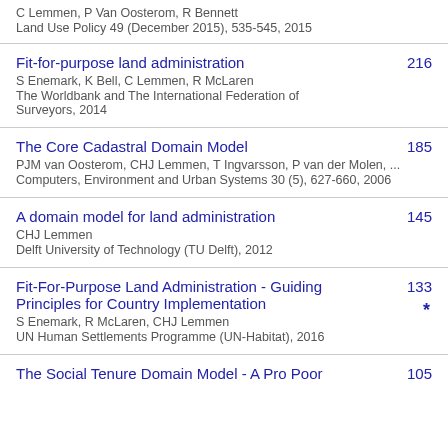C Lemmen, P Van Oosterom, R Bennett
Land Use Policy 49 (December 2015), 535-545, 2015
Fit-for-purpose land administration
S Enemark, K Bell, C Lemmen, R McLaren
The Worldbank and The International Federation of Surveyors, 2014
216
The Core Cadastral Domain Model
PJM van Oosterom, CHJ Lemmen, T Ingvarsson, P van der Molen, ...
Computers, Environment and Urban Systems 30 (5), 627-660, 2006
185
A domain model for land administration
CHJ Lemmen
Delft University of Technology (TU Delft), 2012
145
Fit-For-Purpose Land Administration - Guiding Principles for Country Implementation
S Enemark, R McLaren, CHJ Lemmen
UN Human Settlements Programme (UN-Habitat), 2016
133 *
The Social Tenure Domain Model - A Pro Poor
105